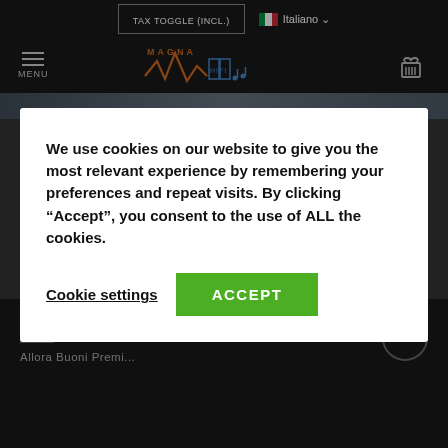TAX TOGGLE (INCL.)  Italiano
[Figure (logo): Magna Hifi logo with waveform graphic in orange/blue on dark background]
We use cookies on our website to give you the most relevant experience by remembering your preferences and repeat visits. By clicking “Accept”, you consent to the use of ALL the cookies.
Cookie settings
ACCEPT
MAGNA HIFI
Allora Buoni Premi...